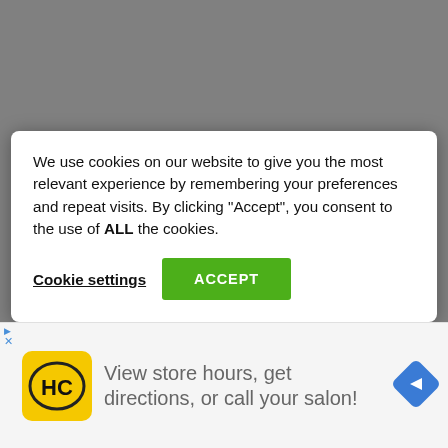[Figure (screenshot): Gray website background behind a cookie consent dialog]
We use cookies on our website to give you the most relevant experience by remembering your preferences and repeat visits. By clicking “Accept”, you consent to the use of ALL the cookies.
Cookie settings   ACCEPT
help me with code to purchase nebula red redmi note 7 pro mobile @12pm 6th april.
[Figure (infographic): Advertisement banner: HC logo (yellow circle with HC text), text 'View store hours, get directions, or call your salon!', blue diamond navigation arrow icon]